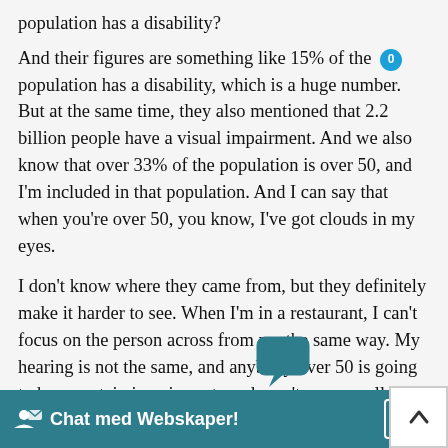population has a disability?
And their figures are something like 15% of the population has a disability, which is a huge number. But at the same time, they also mentioned that 2.2 billion people have a visual impairment. And we also know that over 33% of the population is over 50, and I'm included in that population. And I can say that when you're over 50, you know, I've got clouds in my eyes.
I don't know where they came from, but they definitely make it harder to see. When I'm in a restaurant, I can't focus on the person across from me the same way. My hearing is not the same, and anybody over 50 is going to have certain impairments and won't see as well; color contrast issues are a big deal.
Being able to raise the font is a big deal. And I most ll atta
[Figure (screenshot): Chat med Webskaper! chat widget bar at the bottom of the page, teal/dark cyan color with chat bubble icon and upload icon, with a white arrow-up box on the right side.]